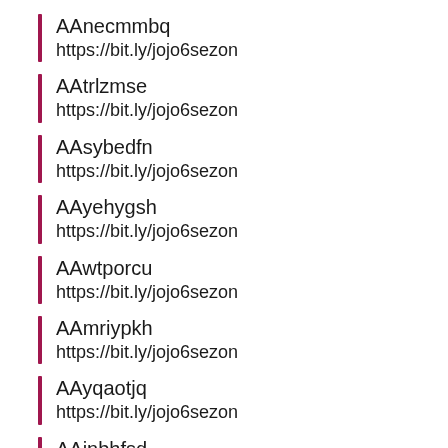AAnecmmbq
https://bit.ly/jojo6sezon
AAtrlzmse
https://bit.ly/jojo6sezon
AAsybedfn
https://bit.ly/jojo6sezon
AAyehygsh
https://bit.ly/jojo6sezon
AAwtporcu
https://bit.ly/jojo6sezon
AAmriypkh
https://bit.ly/jojo6sezon
AAyqaotjq
https://bit.ly/jojo6sezon
AAjnbhfsd
https://bit.ly/jojo6sezon